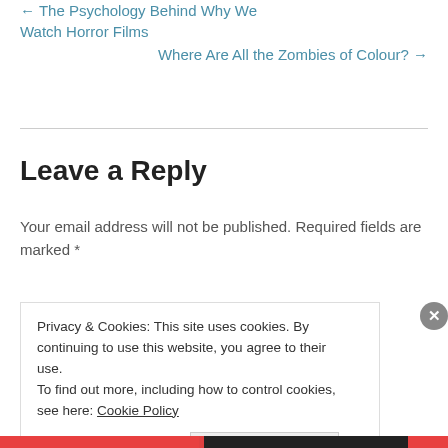← The Psychology Behind Why We Watch Horror Films
Where Are All the Zombies of Colour? →
Leave a Reply
Your email address will not be published. Required fields are marked *
Privacy & Cookies: This site uses cookies. By continuing to use this website, you agree to their use.
To find out more, including how to control cookies, see here: Cookie Policy